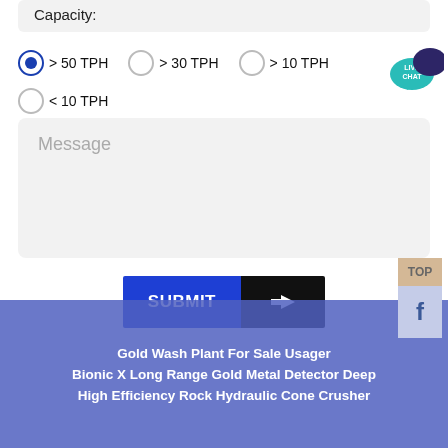Capacity:
> 50 TPH (selected), > 30 TPH, > 10 TPH, < 10 TPH
Message
SUBMIT
Gold Wash Plant For Sale Usager
Bionic X Long Range Gold Metal Detector Deep
High Efficiency Rock Hydraulic Cone Crusher